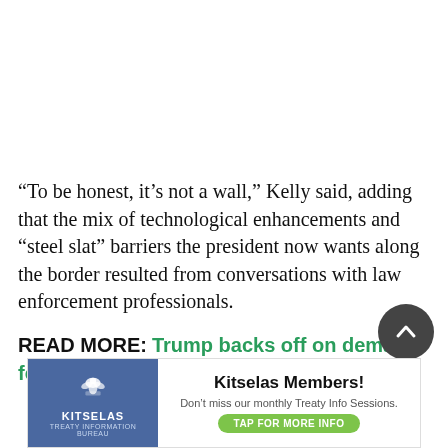“To be honest, it’s not a wall,” Kelly said, adding that the mix of technological enhancements and “steel slat” barriers the president now wants along the border resulted from conversations with law enforcement professionals.
READ MORE: Trump backs off on demand for $5 billion to build border wall
[Figure (other): Kitselas Members advertisement banner: Blue left panel with Kitselas eagle logo and 'KITSELAS / TREATY INFORMATION BUREAU' text; white right panel with bold 'Kitselas Members!' heading, 'Don’t miss our monthly Treaty Info Sessions.' subtitle, and green 'TAP FOR MORE INFO' button.]